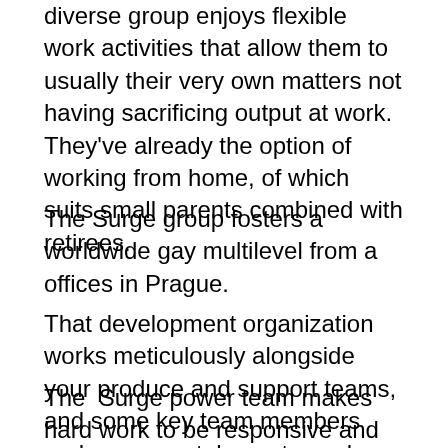diverse group enjoys flexible work activities that allow them to usually their very own matters not having sacrificing output at work. They've already the option of working from home, of which suits small parents combined with retirees.
The Surge group fosters a worldwide gay multilevel from a offices in Prague.
That development organization works meticulously alongside your produce and support teams, and some key team members perhaps even take on two roles inside the company.
The  Surge power team makes hard work to be responsive and accessible to owners through several channels. Affiliates engage in chitchats